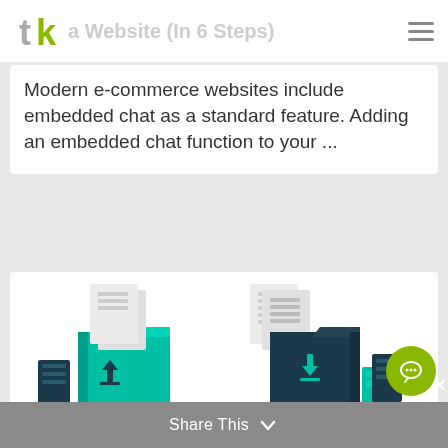a Website (In 6 Steps)
Modern e-commerce websites include embedded chat as a standard feature. Adding an embedded chat function to your ...
[Figure (illustration): Isometric illustration of two open folders (one teal, one dark navy) with documents inside, connected by a teal curved arrow, representing file transfer or migration. Server/storage blocks on sides.]
Share This